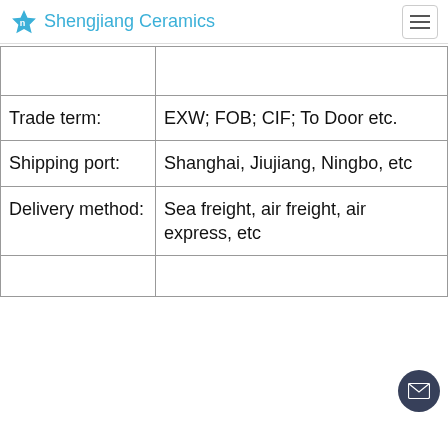Shengjiang Ceramics
|  |  |
| Trade term: | EXW; FOB; CIF; To Door etc. |
| Shipping port: | Shanghai, Jiujiang, Ningbo, etc |
| Delivery method: | Sea freight, air freight, air express, etc |
|  |  |